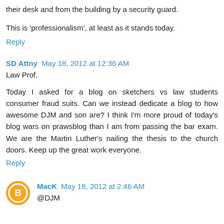their desk and from the building by a security guard.
This is 'professionalism', at least as it stands today.
Reply
SD Attny  May 18, 2012 at 12:36 AM
Law Prof,
Today I asked for a blog on sketchers vs law students consumer fraud suits. Can we instead dedicate a blog to how awesome DJM and son are? I think I'm more proud of today's blog wars on prawsblog than I am from passing the bar exam. We are the Martin Luther's nailing the thesis to the church doors. Keep up the great work everyone.
Reply
MacK  May 18, 2012 at 2:46 AM
@DJM